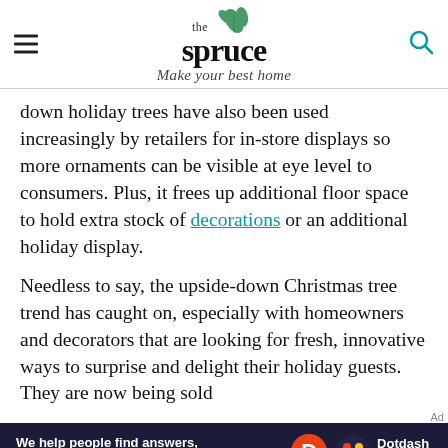the spruce — Make your best home
down holiday trees have also been used increasingly by retailers for in-store displays so more ornaments can be visible at eye level to consumers. Plus, it frees up additional floor space to hold extra stock of decorations or an additional holiday display.
Needless to say, the upside-down Christmas tree trend has caught on, especially with homeowners and decorators that are looking for fresh, innovative ways to surprise and delight their holiday guests. They are now being sold
[Figure (logo): Dotdash Meredith advertisement banner: 'We help people find answers, solve problems and get inspired.']